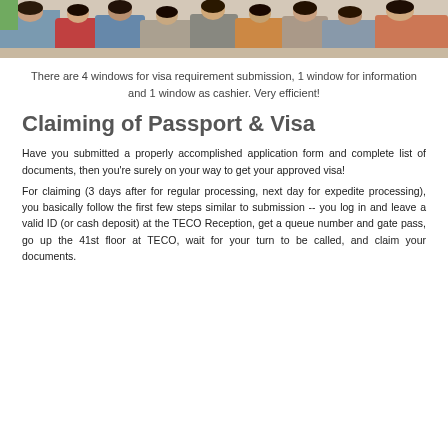[Figure (photo): Photo of people sitting in a waiting area, viewed from behind, at what appears to be a visa application or government office.]
There are 4 windows for visa requirement submission, 1 window for information and 1 window as cashier. Very efficient!
Claiming of Passport & Visa
Have you submitted a properly accomplished application form and complete list of documents, then you're surely on your way to get your approved visa!
For claiming (3 days after for regular processing, next day for expedite processing), you basically follow the first few steps similar to submission -- you log in and leave a valid ID (or cash deposit) at the TECO Reception, get a queue number and gate pass, go up the 41st floor at TECO, wait for your turn to be called, and claim your documents.